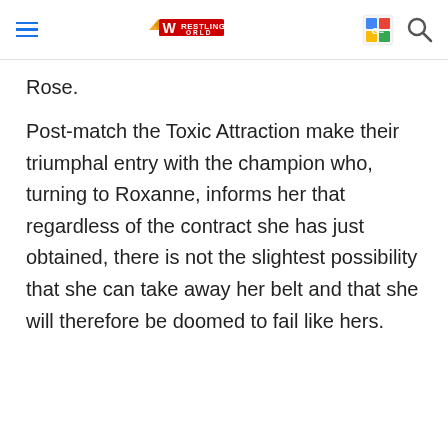Wrestling World
Rose.
Post-match the Toxic Attraction make their triumphal entry with the champion who, turning to Roxanne, informs her that regardless of the contract she has just obtained, there is not the slightest possibility that she can take away her belt and that she will therefore be doomed to fail like hers.